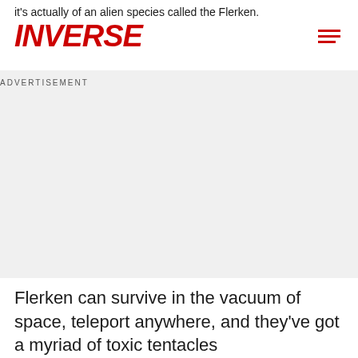it's actually of an alien species called the Flerken.
INVERSE
[Figure (other): Advertisement placeholder area with grey background]
Flerken can survive in the vacuum of space, teleport anywhere, and they've got a myriad of toxic tentacles